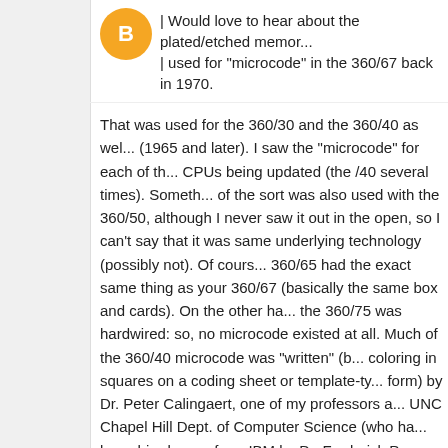| Would love to hear about the plated/etched memory used for "microcode" in the 360/67 back in 1970.
That was used for the 360/30 and the 360/40 as well (1965 and later). I saw the "microcode" for each of those CPUs being updated (the /40 several times). Something of the sort was also used with the 360/50, although I never saw it out in the open, so I can't say that it was same underlying technology (possibly not). Of course, 360/65 had the exact same thing as your 360/67 (basically the same box and cards). On the other hand, the 360/75 was hardwired: so, no microcode existed at all. Much of the 360/40 microcode was "written" (by coloring in squares on a coding sheet or template-type form) by Dr. Peter Calingaert, one of my professors at UNC Chapel Hill Dept. of Computer Science (who had been hired away from IBM by Dr. Frederick P. Brooks, thesis advisor). Dr. Calingaert also wrote all of the microcode for the decimal arithmetic instructions for the original System/360 CPUs (for those that needed such microcode). Long ago (1967ish) I had pictures of updated, replacement plastic sheets being "sorted" in the stack, by hand; there's no telling where they are